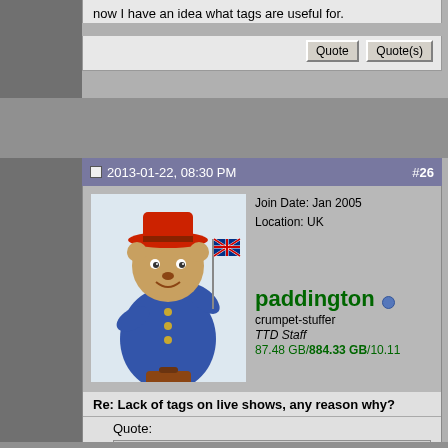now I have an idea what tags are useful for.
Quote  Quote(s)
2013-01-22, 08:30 PM  #26
[Figure (photo): Avatar image of Paddington Bear holding a Union Jack flag, wearing a red hat and blue coat, with a brown suitcase]
Join Date: Jan 2005
Location: UK
paddington
crumpet-stuffer
TTD Staff
87.48 GB/884.33 GB/10.11
Re: Lack of tags on live shows, any reason why?
Quote:
Originally Posted by dasmueller
Mp3Tag works quite well also. It's not just for Mp3 so do not be confused by the name. I also use Foobar 2000 mostly for adding replay-gain tags to keep from volume spikes due to recording levels.
I like mp3tag. Tag&Rename is good, too.